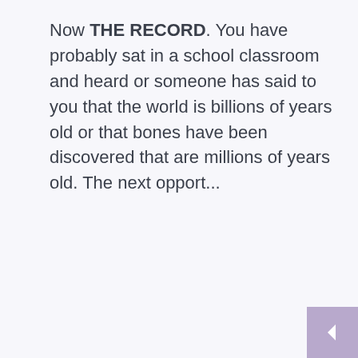Now THE RECORD. You have probably sat in a school classroom and heard or someone has said to you that the world is billions of years old or that bones have been discovered that are millions of years old. The next opport...